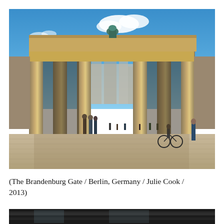[Figure (photo): Photograph of the Brandenburg Gate in Berlin, Germany. The neoclassical gate with large sandstone columns is shown under a vivid blue sky with a few white clouds. Tourists and pedestrians are visible in the foreground on a cobblestone plaza. A bicycle and rider are visible on the right side. Through the gate's central arch, the city streets and buildings of Berlin are visible in the background.]
(The Brandenburg Gate / Berlin, Germany / Julie Cook / 2013)
[Figure (photo): Partial view of a second photograph, showing only the very top portion — a dark interior space with glass panels, barely visible at the bottom edge of the page.]